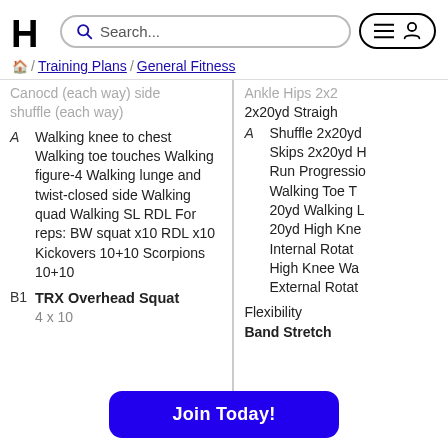HT [logo] Search... [search bar] [menu icon] [user icon]
Home / Training Plans / General Fitness
Canocd (each way) side shuffle (each way)
A Walking knee to chest Walking toe touches Walking figure-4 Walking lunge and twist-closed side Walking quad Walking SL RDL For reps: BW squat x10 RDL x10 Kickovers 10+10 Scorpions 10+10
B1 TRX Overhead Squat 4 x 10
Ankle Hips 2x2 2x20yd Straigh Shuffle 2x20yd Skips 2x20yd H Run Progressio Walking Toe T 20yd Walking L 20yd High Kne Internal Rotat High Knee Wa External Rotat
A Flexibility Band Stretch
Join Today!